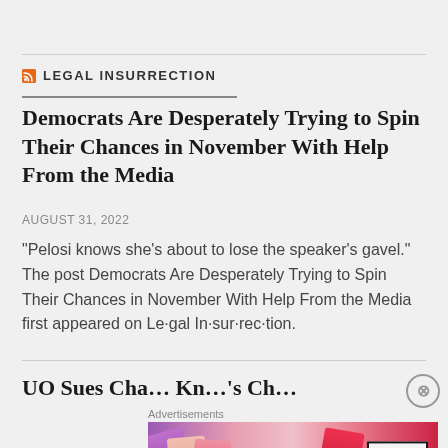LEGAL INSURRECTION
Democrats Are Desperately Trying to Spin Their Chances in November With Help From the Media
AUGUST 31, 2022
"Pelosi knows she’s about to lose the speaker’s gavel." The post Democrats Are Desperately Trying to Spin Their Chances in November With Help From the Media first appeared on Le·gal In·sur·rec·tion.
UO Sues Cha… Kn…’s Ch… Californ… La… Requ…
[Figure (other): MAC cosmetics advertisement showing lipsticks with MAC logo and SHOP NOW button]